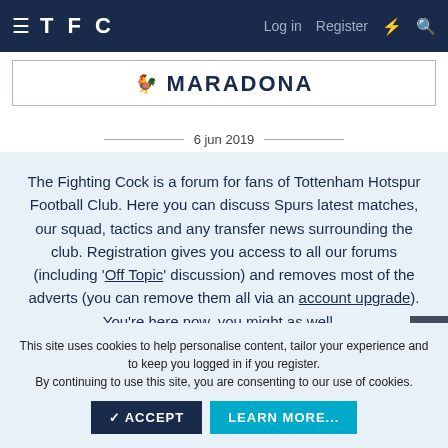TFC — Log in   Register
MARADONA
6 jun 2019
The Fighting Cock is a forum for fans of Tottenham Hotspur Football Club. Here you can discuss Spurs latest matches, our squad, tactics and any transfer news surrounding the club. Registration gives you access to all our forums (including 'Off Topic' discussion) and removes most of the adverts (you can remove them all via an account upgrade). You're here now, you might as well...
GET INVOLVED!
This site uses cookies to help personalise content, tailor your experience and to keep you logged in if you register.
By continuing to use this site, you are consenting to our use of cookies.
✓ ACCEPT    LEARN MORE...